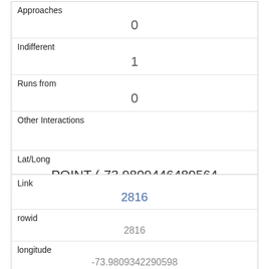| Field | Value |
| --- | --- |
| Approaches | 0 |
| Indifferent | 1 |
| Runs from | 0 |
| Other Interactions |  |
| Lat/Long | POINT (-73.9809446489564 40.7685032165879) |
| Field | Value |
| --- | --- |
| Link | 2816 |
| rowid | 2816 |
| longitude | -73.9809342290598 |
| latitude | 40.7687265606227 |
| Unique Squirrel ID |  |